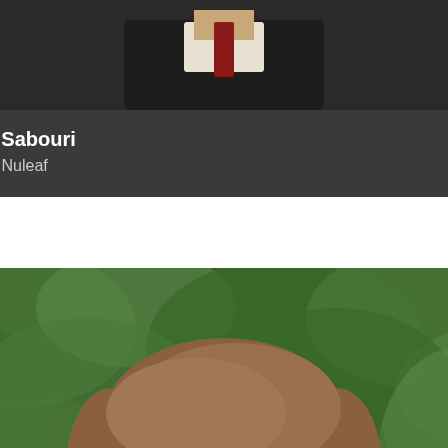[Figure (photo): Partially visible headshot photo of Ben Sabouri, showing lower portion of face and suit jacket against dark background]
Ben Sabouri
CEO, Nuleaf
[Figure (photo): Headshot photo of Adam Dymitruk, middle-aged man with brown hair, against green foliage background, wearing dark jacket]
Adam Dymitruk